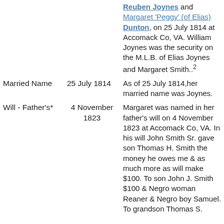Reuben Joynes and Margaret 'Peggy' (of Elias) Dunton, on 25 July 1814 at Accomack Co, VA. William Joynes was the security on the M.L.B. of Elias Joynes and Margaret Smith..2
Married Name | 25 July 1814 | As of 25 July 1814,her married name was Joynes.
Will - Father's* | 4 November 1823 | Margaret was named in her father's will on 4 November 1823 at Accomack Co, VA. In his will John Smith Sr. gave son Thomas H. Smith the money he owes me & as much more as will make $100. To son John J. Smith $100 & Negro woman Reaner & Negro boy Samuel. To grandson Thomas S.